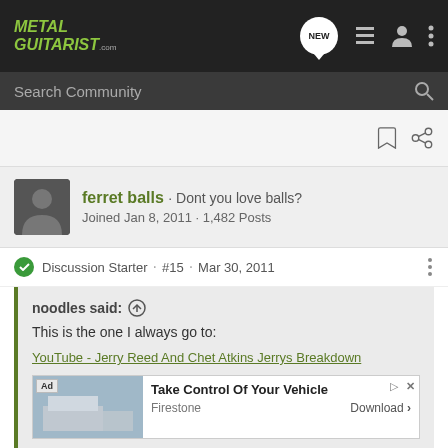Metal Guitarist .com — navigation bar with NEW, list, profile, and menu icons
Search Community
[Figure (screenshot): Bookmark and share icons]
ferret balls · Dont you love balls? Joined Jan 8, 2011 · 1,482 Posts
Discussion Starter · #15 · Mar 30, 2011
noodles said: ↑
This is the one I always go to:
YouTube - Jerry Reed And Chet Atkins Jerrys Breakdown
Chet A... heavy gauge
[Figure (screenshot): Firestone ad: Take Control Of Your Vehicle, Download button]